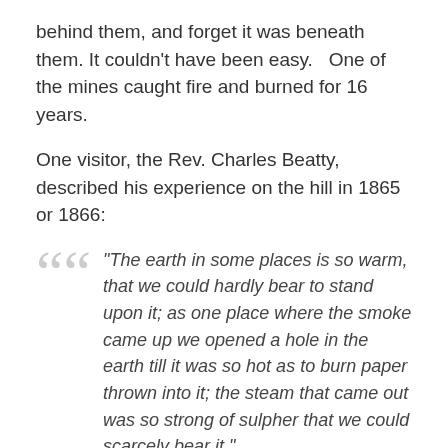behind them, and forget it was beneath them. It couldn't have been easy.   One of the mines caught fire and burned for 16 years.
One visitor, the Rev. Charles Beatty, described his experience on the hill in 1865 or 1866:
“The earth in some places is so warm, that we could hardly bear to stand upon it; as one place where the smoke came up we opened a hole in the earth till it was so hot as to burn paper thrown into it; the steam that came out was so strong of sulpher that we could scarcely bear it.”
Yeah, that would have been a good reason to change the name.
EDITORIAL NOTES: